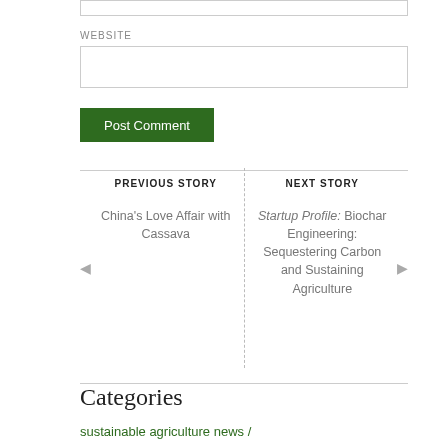WEBSITE
Post Comment
PREVIOUS STORY
China's Love Affair with Cassava
NEXT STORY
Startup Profile: Biochar Engineering: Sequestering Carbon and Sustaining Agriculture
Categories
sustainable agriculture news /